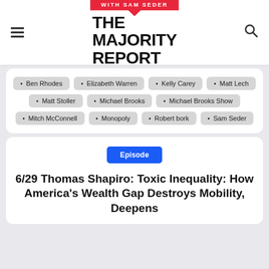[Figure (logo): The Majority Report with Sam Seder logo — red speech bubble with 'WITH SAM SEDER' above bold black 'THE MAJORITY REPORT']
Ben Rhodes
Elizabeth Warren
Kelly Carey
Matt Lech
Matt Stoller
Michael Brooks
Michael Brooks Show
Mitch McConnell
Monopoly
Robert bork
Sam Seder
Episode
6/29 Thomas Shapiro: Toxic Inequality: How America's Wealth Gap Destroys Mobility, Deepens